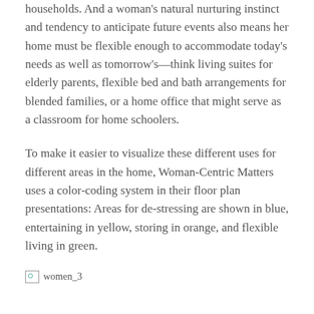households. And a woman's natural nurturing instinct and tendency to anticipate future events also means her home must be flexible enough to accommodate today's needs as well as tomorrow's—think living suites for elderly parents, flexible bed and bath arrangements for blended families, or a home office that might serve as a classroom for home schoolers.
To make it easier to visualize these different uses for different areas in the home, Woman-Centric Matters uses a color-coding system in their floor plan presentations: Areas for de-stressing are shown in blue, entertaining in yellow, storing in orange, and flexible living in green.
[Figure (photo): Broken/missing image placeholder labeled 'women_3']